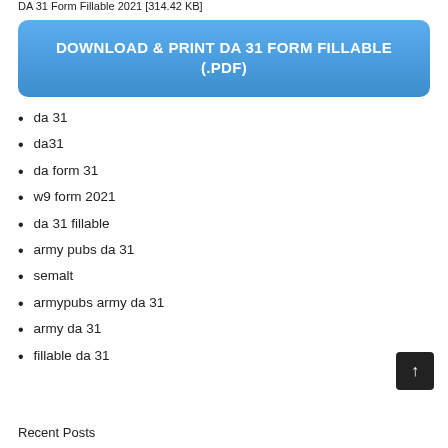DA 31 Form Fillable 2021 [314.42 KB]
DOWNLOAD & PRINT DA 31 FORM FILLABLE (.PDF)
da 31
da31
da form 31
w9 form 2021
da 31 fillable
army pubs da 31
semalt
armypubs army da 31
army da 31
fillable da 31
Recent Posts